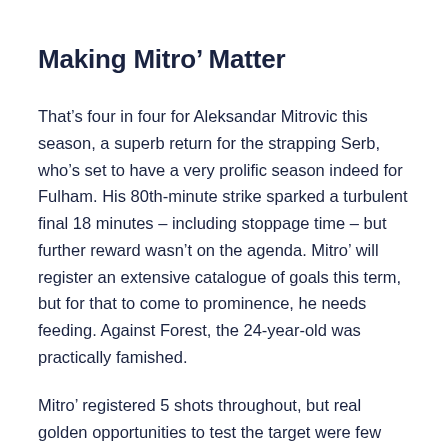Making Mitro’ Matter
That’s four in four for Aleksandar Mitrovic this season, a superb return for the strapping Serb, who’s set to have a very prolific season indeed for Fulham. His 80th-minute strike sparked a turbulent final 18 minutes – including stoppage time – but further reward wasn’t on the agenda. Mitro’ will register an extensive catalogue of goals this term, but for that to come to prominence, he needs feeding. Against Forest, the 24-year-old was practically famished.
Mitro’ registered 5 shots throughout, but real golden opportunities to test the target were few and far between. Forest